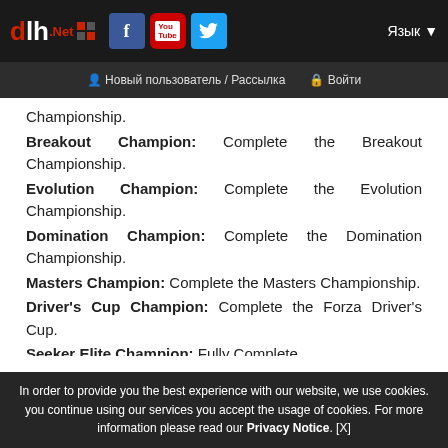dlh.net — Язык | Новый пользователь / Рассылка | Войти
Championship.
Breakout Champion: Complete the Breakout Championship.
Evolution Champion: Complete the Evolution Championship.
Domination Champion: Complete the Domination Championship.
Masters Champion: Complete the Masters Championship.
Driver's Cup Champion: Complete the Forza Driver's Cup.
Seeker Elite Champion: Fully Complete the Seeker Championship.
Breakout Championship. (faded)
In order to provide you the best experience with our website, we use cookies. you continue using our services you accept the usage of cookies. For more information please read our Privacy Notice. [X]